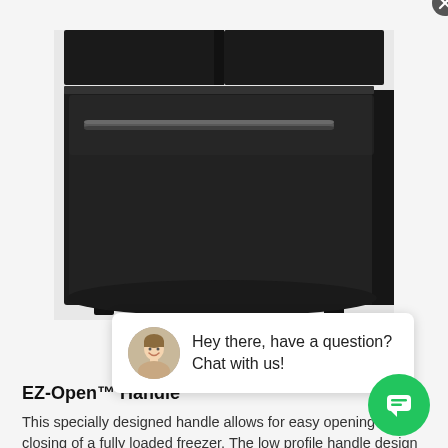[Figure (photo): Close-up photo of a black stainless steel refrigerator freezer drawer with a horizontal bar handle, showing the lower section of a French door refrigerator.]
[Figure (screenshot): Live chat popup bubble with a customer service representative avatar and text: Hey there, have a question? Chat with us! There is an X close button and a green circular chat FAB button.]
EZ-Open™ Handle
This specially designed handle allows for easy opening and closing of a fully loaded freezer. The low profile handle design lifts up and glides out